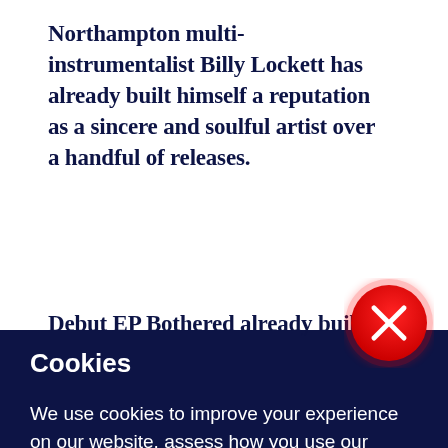Northampton multi-instrumentalist Billy Lockett has already built himself a reputation as a sincere and soulful artist over a handful of releases.
[Figure (other): Red circular close button with white X icon, partially overlapping the boundary between the white article section and the dark navy cookie banner]
Cookies
We use cookies to improve your experience on our website, assess how you use our website and for website security purposes. By continuing to navigate this website, we'll assume you agree to this. Read more about what cookies do and how to adjust your settings here.